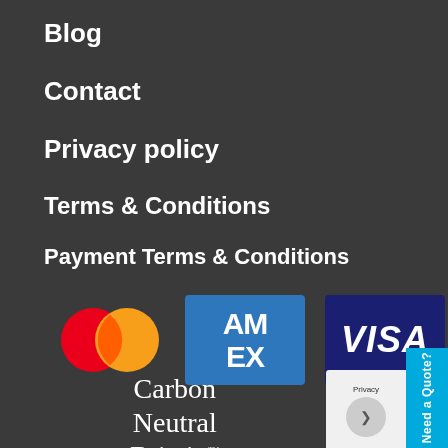Blog
Contact
Privacy policy
Terms & Conditions
Payment Terms & Conditions
[Figure (logo): Payment method logos: Mastercard (two overlapping circles, red and orange), American Express (blue square with AM EX text), Visa (dark blue rectangle with VISA text)]
[Figure (logo): Carbon Neutral Britain logo with text]
Need a Quote?